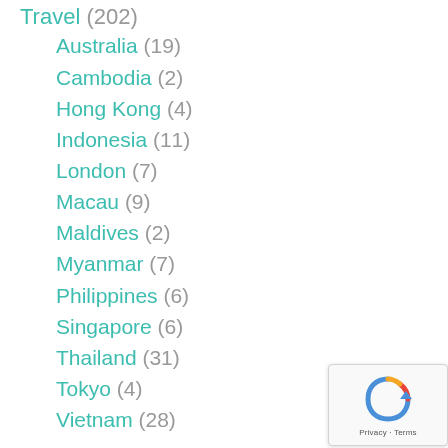Travel (202)
Australia (19)
Cambodia (2)
Hong Kong (4)
Indonesia (11)
London (7)
Macau (9)
Maldives (2)
Myanmar (7)
Philippines (6)
Singapore (6)
Thailand (31)
Tokyo (4)
Vietnam (28)